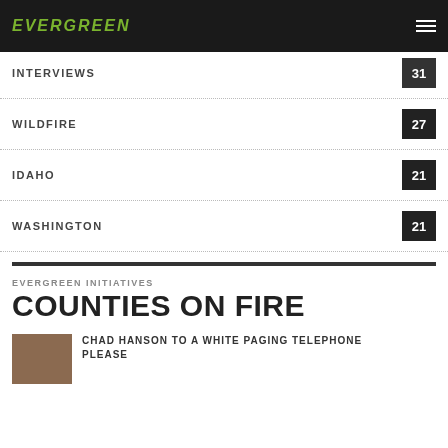EVERGREEN
INTERVIEWS 31
WILDFIRE 27
IDAHO 21
WASHINGTON 21
EVERGREEN INITIATIVES
COUNTIES ON FIRE
CHAD HANSON TO A WHITE PAGING TELEPHONE PLEASE